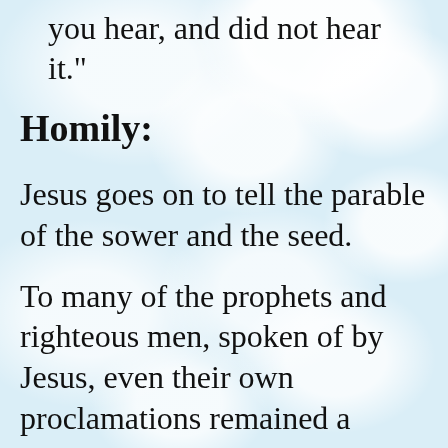you hear, and did not hear it."
Homily:
Jesus goes on to tell the parable of the sower and the seed.
To many of the prophets and righteous men, spoken of by Jesus, even their own proclamations remained a mystery